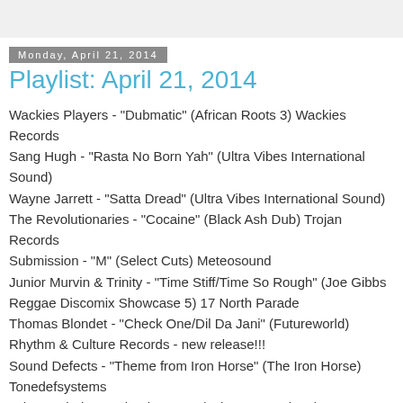Monday, April 21, 2014
Playlist: April 21, 2014
Wackies Players - "Dubmatic" (African Roots 3) Wackies Records
Sang Hugh - "Rasta No Born Yah" (Ultra Vibes International Sound)
Wayne Jarrett - "Satta Dread" (Ultra Vibes International Sound)
The Revolutionaries - "Cocaine" (Black Ash Dub) Trojan Records
Submission - "M" (Select Cuts) Meteosound
Junior Murvin & Trinity - "Time Stiff/Time So Rough" (Joe Gibbs Reggae Discomix Showcase 5) 17 North Parade
Thomas Blondet - "Check One/Dil Da Jani" (Futureworld) Rhythm & Culture Records - new release!!!
Sound Defects - "Theme from Iron Horse" (The Iron Horse) Tonedefsystems
Johnny Clarke - " Blood Dunza" (Jah Love Rockers)